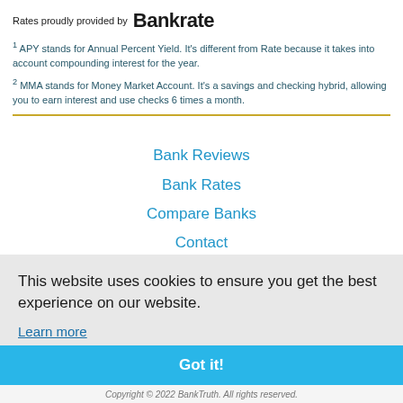Rates proudly provided by Bankrate
1 APY stands for Annual Percent Yield. It's different from Rate because it takes into account compounding interest for the year.
2 MMA stands for Money Market Account. It's a savings and checking hybrid, allowing you to earn interest and use checks 6 times a month.
Bank Reviews
Bank Rates
Compare Banks
Contact
This website uses cookies to ensure you get the best experience on our website.
Learn more
Got it!
Copyright © 2022 BankTruth. All rights reserved.